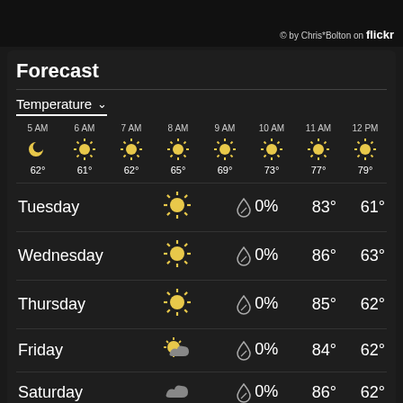© by Chris*Bolton on flickr
Forecast
Temperature ∨
| Time | Icon | Temp |
| --- | --- | --- |
| 5 AM | moon | 62° |
| 6 AM | sun | 61° |
| 7 AM | sun | 62° |
| 8 AM | sun | 65° |
| 9 AM | sun | 69° |
| 10 AM | sun | 73° |
| 11 AM | sun | 77° |
| 12 PM | sun | 79° |
| Day | Icon | Precip | High | Low |
| --- | --- | --- | --- | --- |
| Tuesday | sun | 0% | 83° | 61° |
| Wednesday | sun | 0% | 86° | 63° |
| Thursday | sun | 0% | 85° | 62° |
| Friday | partly-cloudy | 0% | 84° | 62° |
| Saturday | cloud | 0% | 86° | 62° |
| Sunday | cloud | 0% | 85° | 63° |
| Monday | partly-cloudy | 0% | 85° | 66° |